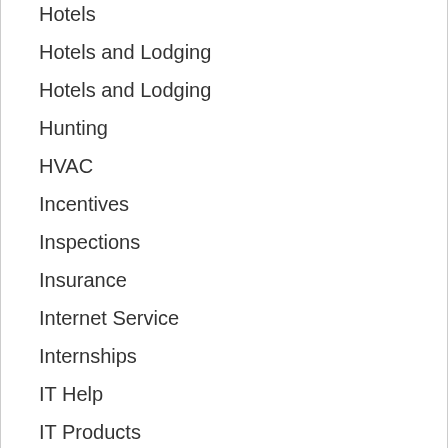Hotels
Hotels and Lodging
Hotels and Lodging
Hunting
HVAC
Incentives
Inspections
Insurance
Internet Service
Internships
IT Help
IT Products
IT Services
IT Solutions
Jewelry